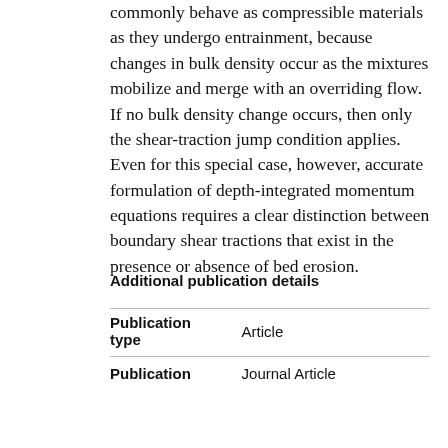commonly behave as compressible materials as they undergo entrainment, because changes in bulk density occur as the mixtures mobilize and merge with an overriding flow. If no bulk density change occurs, then only the shear-traction jump condition applies. Even for this special case, however, accurate formulation of depth-integrated momentum equations requires a clear distinction between boundary shear tractions that exist in the presence or absence of bed erosion.
Additional publication details
|  |  |
| --- | --- |
| Publication type | Article |
| Publication | Journal Article |